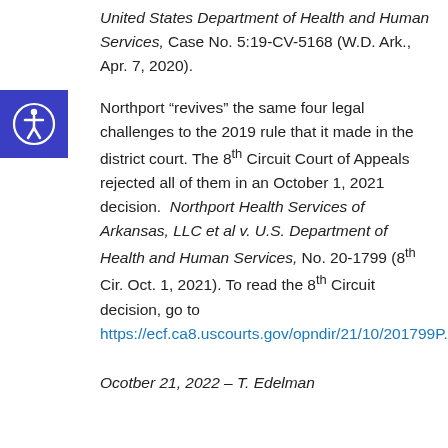United States Department of Health and Human Services, Case No. 5:19-CV-5168 (W.D. Ark., Apr. 7, 2020).
Northport “revives” the same four legal challenges to the 2019 rule that it made in the district court. The 8th Circuit Court of Appeals rejected all of them in an October 1, 2021 decision. Northport Health Services of Arkansas, LLC et al v. U.S. Department of Health and Human Services, No. 20-1799 (8th Cir. Oct. 1, 2021). To read the 8th Circuit decision, go to https://ecf.ca8.uscourts.gov/opndir/21/10/201799P.p
Ocotber 21, 2022 – T. Edelman